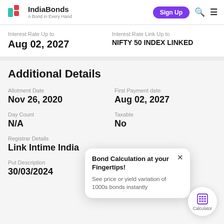IndiaBonds – A Bond in Every Hand
Interest Rate Up to: Aug 02, 2027
Interest Rate Link Up to: NIFTY 50 INDEX LINKED
Additional Details
Allotment Date: Nov 26, 2020
First Payment date: Aug 02, 2027
Day Count: N/A
Taxable: No
Registrar Details: Link Intime India
Put Description: 30/03/2024
Bond Calculation at your Fingertips! See price or yield variation of 1000s bonds instantly